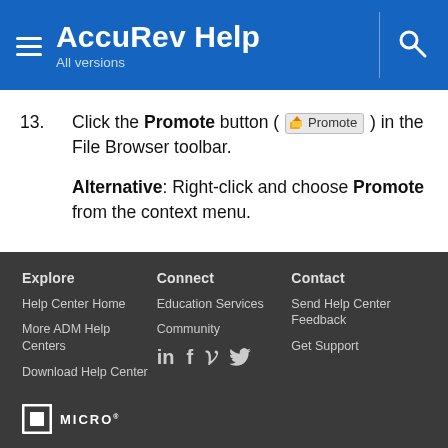AccuRev Help
All versions
13. Click the Promote button ( Promote ) in the File Browser toolbar.
Alternative: Right-click and choose Promote from the context menu.
Explore
Help Center Home
More ADM Help Centers
Download Help Center
Connect
Education Services
Community
Contact
Send Help Center Feedback
Get Support
MICRO